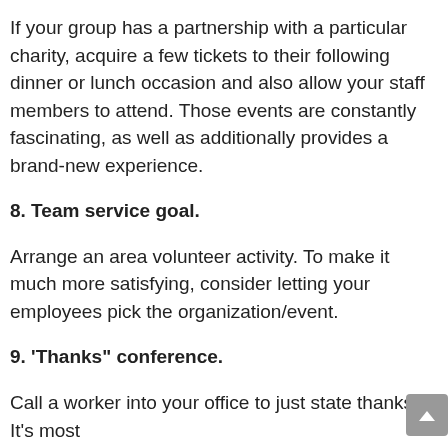If your group has a partnership with a particular charity, acquire a few tickets to their following dinner or lunch occasion and also allow your staff members to attend. Those events are constantly fascinating, as well as additionally provides a brand-new experience.
8. Team service goal.
Arrange an area volunteer activity. To make it much more satisfying, consider letting your employees pick the organization/event.
9. 'Thanks" conference.
Call a worker into your office to just state thanks. It's most